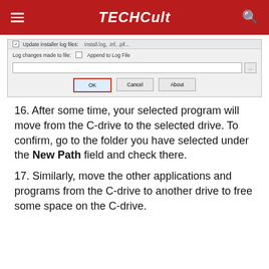TECHCult
[Figure (screenshot): Windows dialog box showing installer log settings with a text field, checkboxes for 'Update installer log files' and 'Append to Log File', a text input for log file path, and three buttons: OK (highlighted with red border), Cancel, and About.]
16. After some time, your selected program will move from the C-drive to the selected drive. To confirm, go to the folder you have selected under the New Path field and check there.
17. Similarly, move the other applications and programs from the C-drive to another drive to free some space on the C-drive.